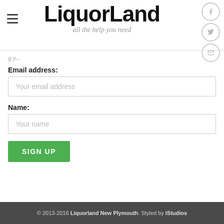[Figure (logo): LiquorLand logo with tagline 'all the help you need' and social media icons (Facebook, Twitter, Email) in circular borders on the right, and a hamburger menu icon on the left]
Email address:
Your email address
Name:
Your name
SIGN UP
© 2013-2016 Liquorland New Plymouth. Styled by iStudios